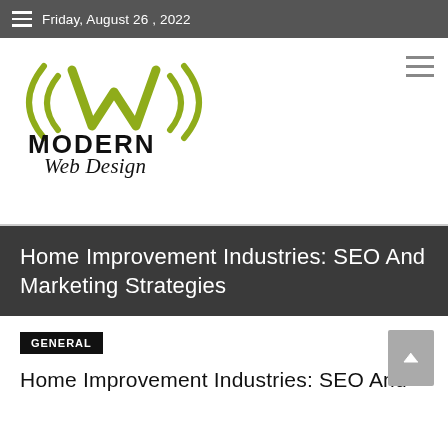Friday, August 26 , 2022
[Figure (logo): Modern Web Design logo — stylized W with radio-wave arcs in olive/yellow-green, bold MODERN text with italic cursive Web Design below]
Home Improvement Industries: SEO And Marketing Strategies
GENERAL
Home Improvement Industries: SEO And